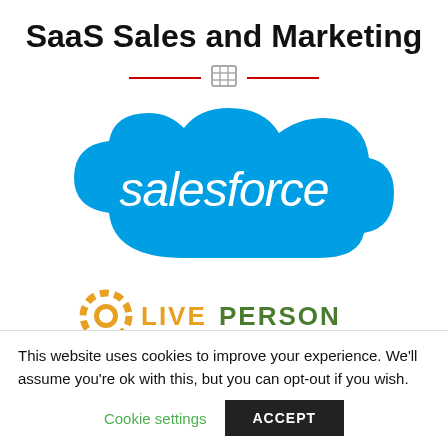SaaS Sales and Marketing
[Figure (logo): Decorative divider with two red horizontal lines and a gray grid/table icon in the center]
[Figure (logo): Salesforce logo: white text 'salesforce' on a blue cloud shape]
[Figure (logo): LivePerson logo: orange gear/sun icon followed by orange and green text 'LIVEPERSON']
This website uses cookies to improve your experience. We'll assume you're ok with this, but you can opt-out if you wish.
Cookie settings  ACCEPT